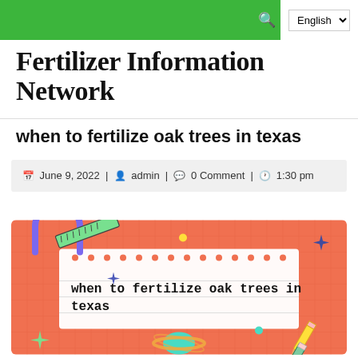English (language selector) | search icon
Fertilizer Information Network
when to fertilize oak trees in texas
June 9, 2022 | admin | 0 Comment | 1:30 pm
[Figure (illustration): Decorative blog post header image on salmon/orange background with the text 'when to fertilize oak trees in texas' in bold monospace font, surrounded by illustrated elements including a ruler, protractor, planet, sparkle stars, yellow dots, and a pencil.]